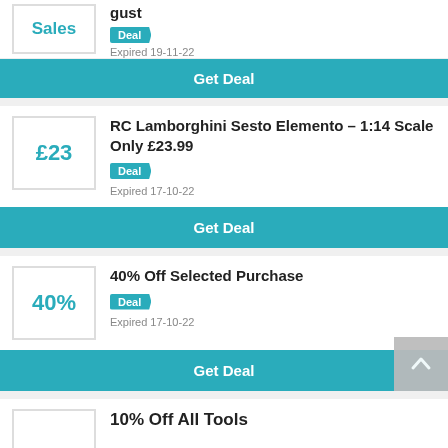Sales (partial, cropped top)
gust
Deal
Expired 19-11-22
Get Deal
RC Lamborghini Sesto Elemento – 1:14 Scale Only £23.99
Deal
Expired 17-10-22
Get Deal
40% Off Selected Purchase
Deal
Expired 17-10-22
Get Deal
10% Off All Tools